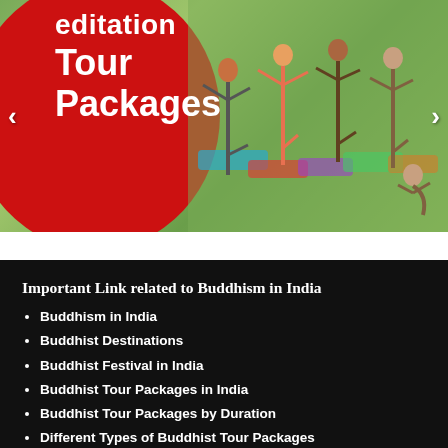[Figure (photo): Banner image showing outdoor yoga/meditation group class on grass with colorful mats, overlaid with a large red circle graphic on the left containing white bold text reading 'Meditation Tour Packages', with left and right navigation arrows]
Important Link related to Buddhism in India
Buddhism in India
Buddhist Destinations
Buddhist Festival in India
Buddhist Tour Packages in India
Buddhist Tour Packages by Duration
Different Types of Buddhist Tour Packages